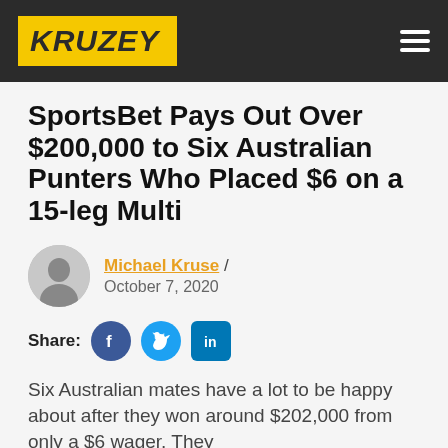KRUZEY
SportsBet Pays Out Over $200,000 to Six Australian Punters Who Placed $6 on a 15-leg Multi
Michael Kruse / October 7, 2020
Share:
Six Australian mates have a lot to be happy about after they won around $202,000 from only a $6 wager. They